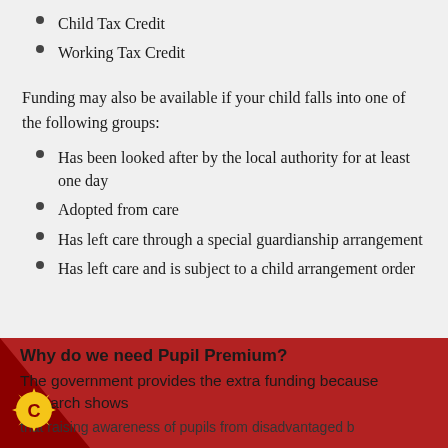Child Tax Credit
Working Tax Credit
Funding may also be available if your child falls into one of the following groups:
Has been looked after by the local authority for at least one day
Adopted from care
Has left care through a special guardianship arrangement
Has left care and is subject to a child arrangement order
Why do we need Pupil Premium?
The government provides the extra funding because research shows